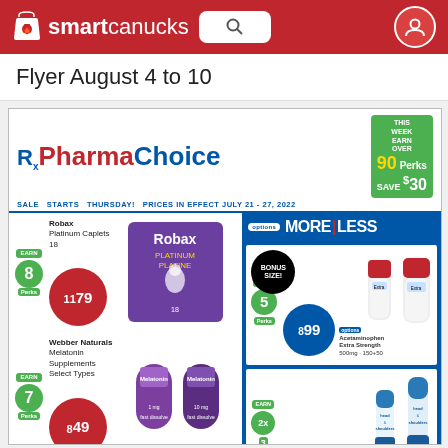smartcanucks
Flyer August 4 to 10
[Figure (screenshot): PharmaChoice flyer screenshot showing sale items: Robax Platinum Caplets 18 for $11.79 (Earn 8 Perks), Webber Naturals Melatonin Supplements Select Types for $8.49 (Earn 7 Perks), Acetaminophen Extra Strength 500mg 150+50 for $8.99 (Earn 5 Perks), and head & shoulders products with Earn 2x3 Perks. Sale starts Thursday, prices in effect July 21-27, 2022. Options MORE|LESS section on right. This week earn over 90 Perks, Save $30 badge.]